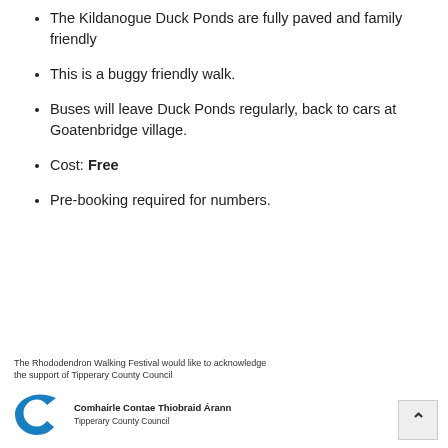The Kildanogue Duck Ponds are fully paved and family friendly
This is a buggy friendly walk.
Buses will leave Duck Ponds regularly, back to cars at Goatenbridge village.
Cost: Free
Pre-booking required for numbers.
The Rhododendron Walking Festival would like to acknowledge the support of Tipperary County Council
[Figure (logo): Tipperary County Council logo — stylised blue C shape with text 'Comhairle Contae Thiobraid Árann Tipperary County Council']